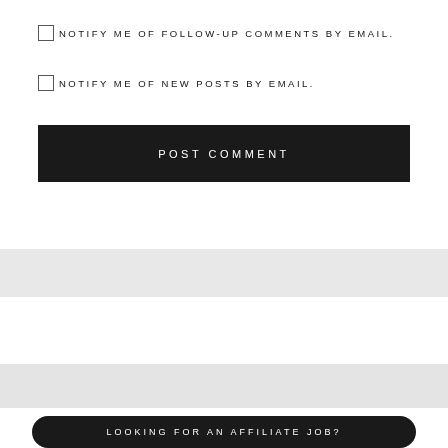NOTIFY ME OF FOLLOW-UP COMMENTS BY EMAIL.
NOTIFY ME OF NEW POSTS BY EMAIL.
POST COMMENT
LOOKING FOR AN AFFILIATE JOB?